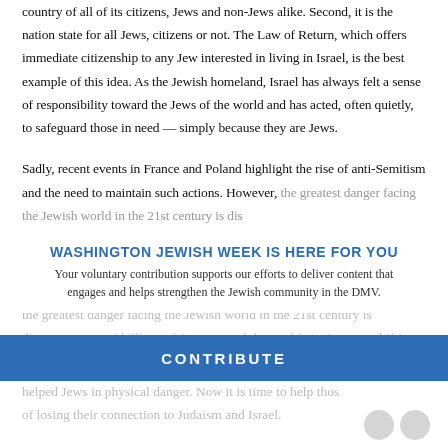country of all of its citizens, Jews and non-Jews alike. Second, it is the nation state for all Jews, citizens or not. The Law of Return, which offers immediate citizenship to any Jew interested in living in Israel, is the best example of this idea. As the Jewish homeland, Israel has always felt a sense of responsibility toward the Jews of the world and has acted, often quietly, to safeguard those in need — simply because they are Jews.
Sadly, recent events in France and Poland highlight the rise of anti-Semitism and the need to maintain such actions. However, the greatest danger facing the Jewish world in the 21st century is disengagement of billions of Jews around the world. As Jews are drifting away from Judaism and, as a result, from Israel, Israel
WASHINGTON JEWISH WEEK IS HERE FOR YOU
Your voluntary contribution supports our efforts to deliver content that engages and helps strengthen the Jewish community in the DMV.
CONTRIBUTE
helped Jews in physical danger. Now it is time to help those of losing their connection to Judaism and Israel.